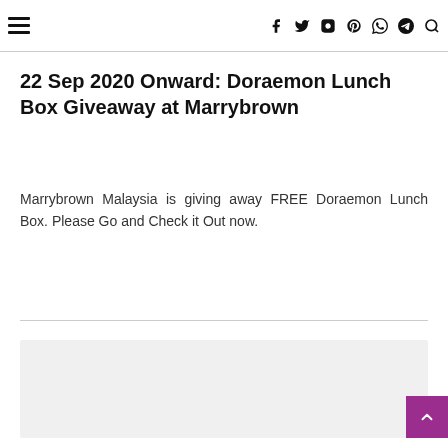≡  f  🐦  📷  Pinterest  WhatsApp  Telegram  🔍
22 Sep 2020 Onward: Doraemon Lunch Box Giveaway at Marrybrown
Marrybrown Malaysia is giving away FREE Doraemon Lunch Box. Please Go and Check it Out now.
Read more »
[Figure (photo): Gray placeholder image area below a horizontal divider]